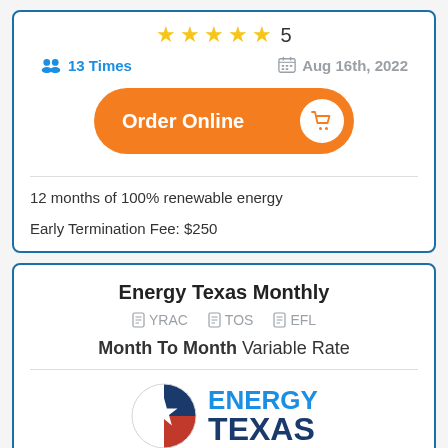★★★★★ 5
13 Times   Aug 16th, 2022
Order Online
12 months of 100% renewable energy
Early Termination Fee: $250
Energy Texas Monthly
YRAC   TOS   EFL
Month To Month Variable Rate
[Figure (logo): Energy Texas logo: Texas globe icon with ENERGY TEXAS text in blue and navy]